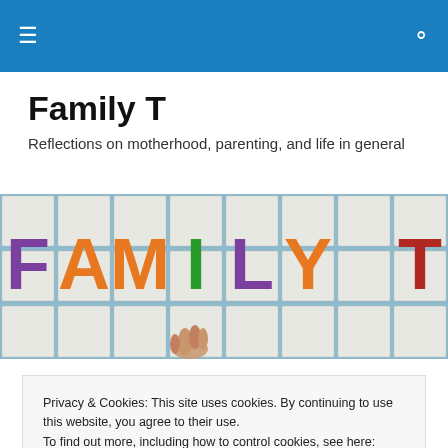Family T – navigation bar with hamburger menu and search icon
Family T
Reflections on motherhood, parenting, and life in general
[Figure (photo): Colorful foam bath letters spelling FAMILY T arranged on white tiles, with a child's hand reaching toward the letters]
Privacy & Cookies: This site uses cookies. By continuing to use this website, you agree to their use.
To find out more, including how to control cookies, see here: Cookie Policy
Close and accept
I was born in Argentina and moved to NY when I was 45